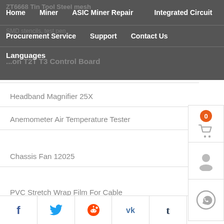ZT6668 Tin Tool Steel mesh
Home   Miner   ASIC Miner Repair   Integrated Circuit
SMD stencils, test pen
Procurement Service   Support   Contact Us
Languages
...on T2T T3 Control Board
Circuit breaker air switch 3P 16A to 630A
Headband Magnifier 25X
Anemometer Air Temperature Tester
Chassis Fan 12025
PVC Stretch Wrap Film For Cable
Power test lead Alligator clip power cable
ASIC chip aging maintenance